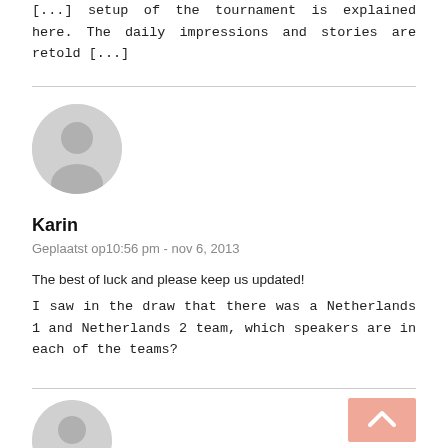[...] setup of the tournament is explained here. The daily impressions and stories are retold [...]
[Figure (illustration): Default user avatar (gray circle with person silhouette) for Karin]
Karin
Geplaatst op10:56 pm - nov 6, 2013
The best of luck and please keep us updated!
I saw in the draw that there was a Netherlands 1 and Netherlands 2 team, which speakers are in each of the teams?
[Figure (illustration): Default user avatar (gray circle with person silhouette), partially visible at bottom]
[Figure (illustration): Scroll-to-top button (salmon/peach colored with upward arrow)]